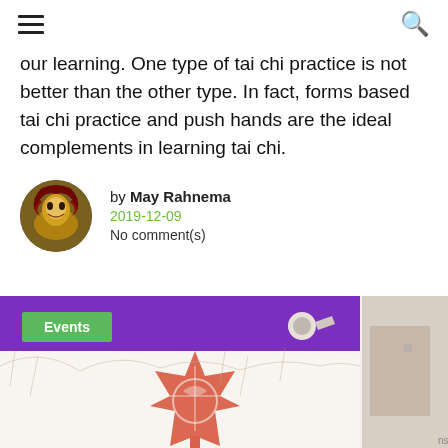≡ [hamburger menu] [search icon]
our learning. One type of tai chi practice is not better than the other type. In fact, forms based tai chi practice and push hands are the ideal complements in learning tai chi.
by May Rahnema
2019-12-09
No comment(s)
[Figure (photo): Bottom image showing a banner with a red maple leaf and tai chi figure design, purple background visible, with an 'Events' green badge overlay]